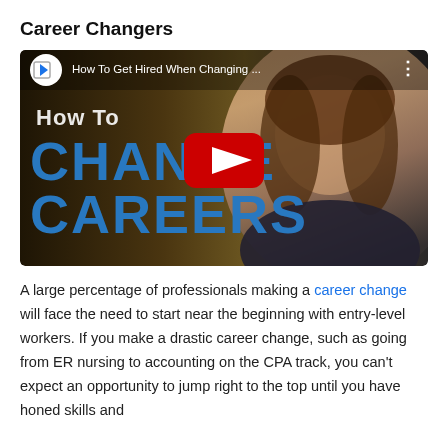Career Changers
[Figure (screenshot): YouTube video thumbnail showing 'How To Change Careers' with a woman smiling on the right side. The video title bar reads 'How To Get Hired When Changing ...' with a play button in the center.]
A large percentage of professionals making a career change will face the need to start near the beginning with entry-level workers. If you make a drastic career change, such as going from ER nursing to accounting on the CPA track, you can't expect an opportunity to jump right to the top until you have honed skills and